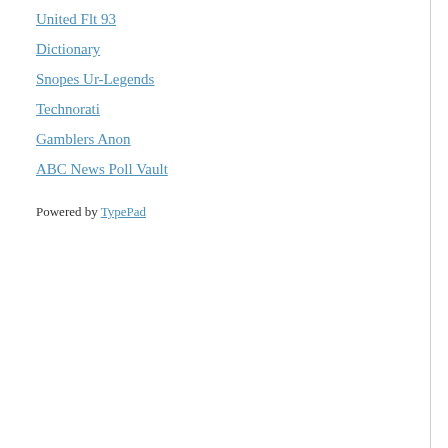United Flt 93
Dictionary
Snopes Ur-Legends
Technorati
Gamblers Anon
ABC News Poll Vault
Powered by TypePad
And really, since when are the... our federal government consi... be efficient in delivering what... like the prodigal son?
Capitalism has raised the wo... been practiced. Cuba, anyon... going broke. The Pope knows... people like Buffet and Soros ... game the system and tells us... Pope?
The fallacy of the Left's argu... outcomes through an ever ex... government. The buck eventu... out.
Pope Francis has had direct ... theology as well as the dictat... to all of it is very clear.
All this talk in the name of Ou... cannot know His mind above ... the free and the slave. He sh... difficult. We can only hope to...